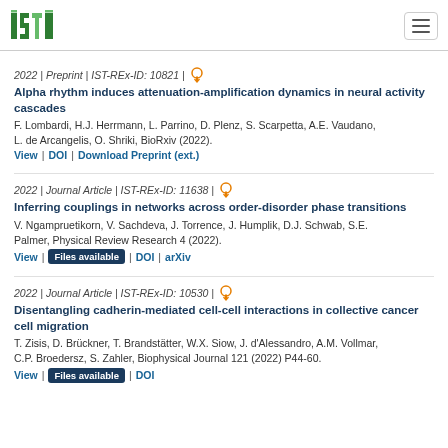ISTA logo and navigation
2022 | Preprint | IST-REx-ID: 10821 |
Alpha rhythm induces attenuation-amplification dynamics in neural activity cascades
F. Lombardi, H.J. Herrmann, L. Parrino, D. Plenz, S. Scarpetta, A.E. Vaudano, L. de Arcangelis, O. Shriki, BioRxiv (2022).
View | DOI | Download Preprint (ext.)
2022 | Journal Article | IST-REx-ID: 11638 |
Inferring couplings in networks across order-disorder phase transitions
V. Ngampruetikorn, V. Sachdeva, J. Torrence, J. Humplik, D.J. Schwab, S.E. Palmer, Physical Review Research 4 (2022).
View | Files available | DOI | arXiv
2022 | Journal Article | IST-REx-ID: 10530 |
Disentangling cadherin-mediated cell-cell interactions in collective cancer cell migration
T. Zisis, D. Brückner, T. Brandstätter, W.X. Siow, J. d'Alessandro, A.M. Vollmar, C.P. Broedersz, S. Zahler, Biophysical Journal 121 (2022) P44-60.
View | Files available | DOI